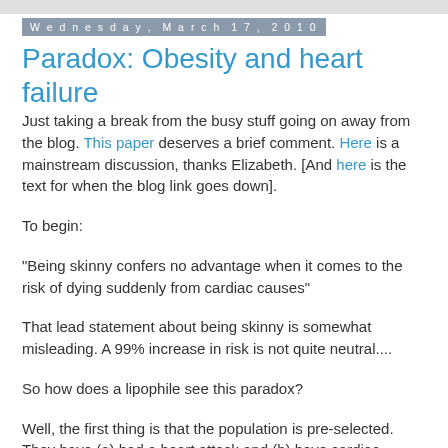Wednesday, March 17, 2010
Paradox: Obesity and heart failure
Just taking a break from the busy stuff going on away from the blog. This paper deserves a brief comment. Here is a mainstream discussion, thanks Elizabeth. [And here is the text for when the blog link goes down].
To begin:
"Being skinny confers no advantage when it comes to the risk of dying suddenly from cardiac causes"
That lead statement about being skinny is somewhat misleading. A 99% increase in risk is not quite neutral....
So how does a lipophile see this paradox?
Well, the first thing is that the population is pre-selected. They have (a) had a heart attack and (b) have cardiac